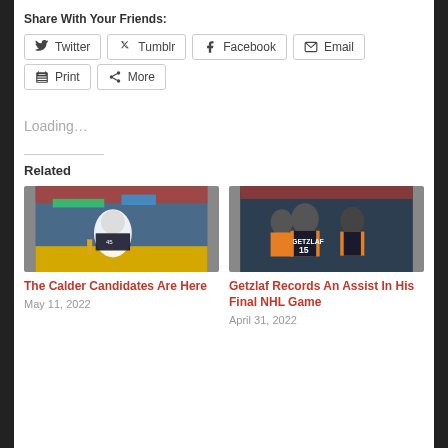Share With Your Friends:
Twitter
Tumblr
Facebook
Email
Print
More
Loading...
Related
[Figure (photo): Hockey player on ice, Anaheim Ducks player crouching in white helmet]
The Calder Candidates Are Here
May 11, 2022
[Figure (photo): Anaheim Ducks player Getzlaf #15 with teammates on ice]
Getzlaf Records An Assist In His Final NHL Game
April 31, 2022